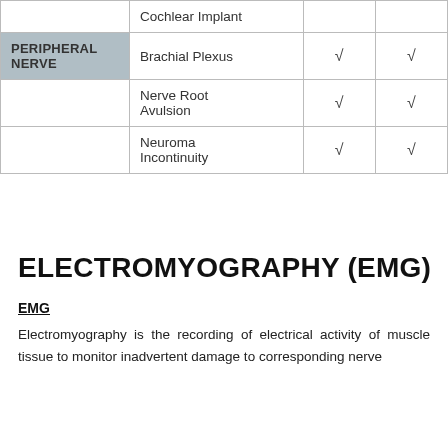| Category | Item | Check1 | Check2 |
| --- | --- | --- | --- |
|  | Cochlear Implant |  |  |
| PERIPHERAL NERVE | Brachial Plexus | √ | √ |
|  | Nerve Root Avulsion | √ | √ |
|  | Neuroma Incontinuity | √ | √ |
ELECTROMYOGRAPHY (EMG)
EMG
Electromyography is the recording of electrical activity of muscle tissue to monitor inadvertent damage to corresponding nerve